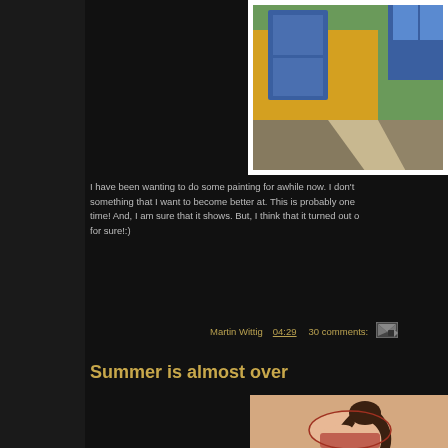[Figure (photo): A painting of a yellow building/wall with a blue door, street scene with dramatic shadows on pavement]
I have been wanting to do some painting for awhile now. I don't something that I want to become better at. This is probably one time! And, I am sure that it shows. But, I think that it turned out o for sure!:)
Martin Wittig   04:29   30 comments:
Summer is almost over
[Figure (illustration): Illustration of a woman with long dark hair leaning forward, drawn in cartoon/anime style]